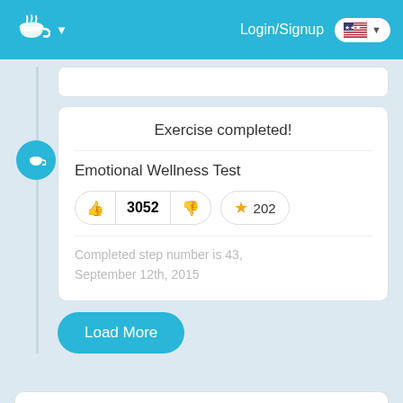Login/Signup
Exercise completed!
Emotional Wellness Test
3052
202
Completed step number is 43, September 12th, 2015
Load More
Feedback & Reviews